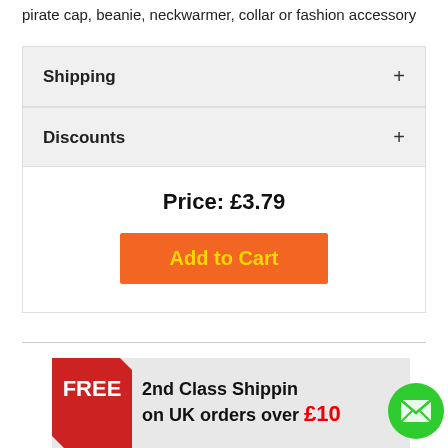pirate cap, beanie, neckwarmer, collar or fashion accessory
Shipping
Discounts
Price: £3.79
Add to Cart
[Figure (infographic): FREE 2nd Class Shipping on UK orders over £10 promotional banner with red diamond FREE badge on the left and green email bubble icon on the right]